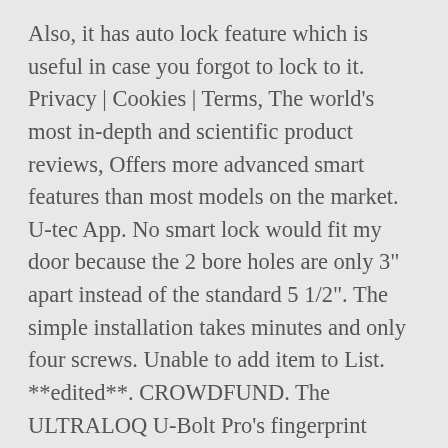Also, it has auto lock feature which is useful in case you forgot to lock to it. Privacy | Cookies | Terms, The world's most in-depth and scientific product reviews, Offers more advanced smart features than most models on the market. U-tec App. No smart lock would fit my door because the 2 bore holes are only 3" apart instead of the standard 5 1/2". The simple installation takes minutes and only four screws. Unable to add item to List. **edited**. CROWDFUND. The ULTRALOQ U-Bolt Pro's fingerprint scanner is one of the most unique smart features we've come across. Apple Watch. ULTRALOQ U-Bolt Pro Bluetooth Enabled Fingerprint and Keypad Smart